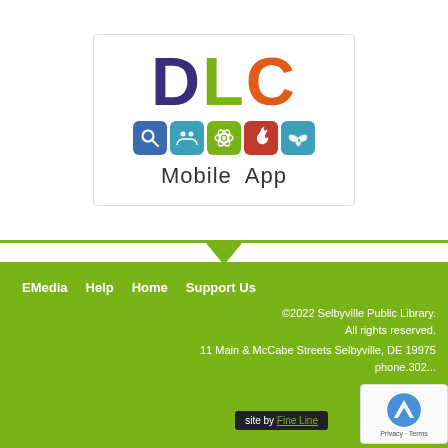[Figure (logo): DLC Mobile App logo with colored D (purple), L (green), C (orange) letters and a row of 5 colored icon squares (search, people, atom, fire, butterfly), with 'Mobile App' text below]
EMedia   Help   Home   Support Us
©2022 Selbyville Public Library. All rights reserved.
11 Main & McCabe Streets Selbyville, DE 19975
phone.302...
site by Fine Line